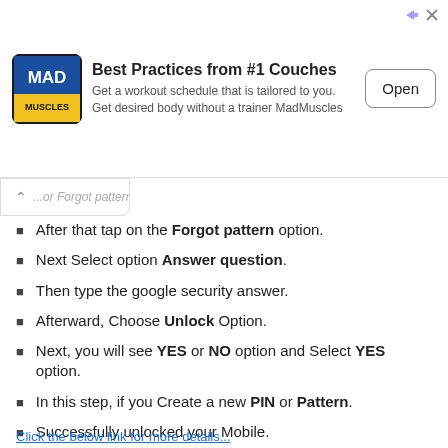[Figure (screenshot): Advertisement banner for MadMuscles app showing logo, title 'Best Practices from #1 Couches', description text, and Open button]
...or Forgot pattern Option...
After that tap on the Forgot pattern option.
Next Select option Answer question.
Then type the google security answer.
Afterward, Choose Unlock Option.
Next, you will see YES or NO option and Select YES option.
In this step, if you Create a new PIN or Pattern.
Successfully unlocked your Mobile.
Click the below link for more details...